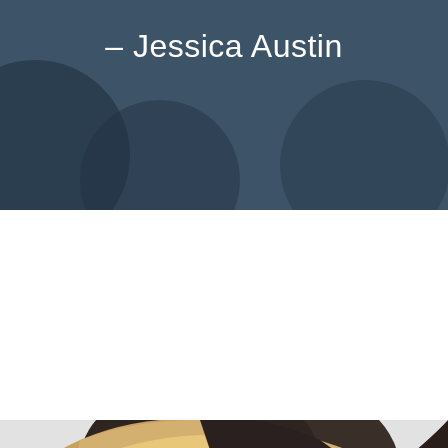— Jessica Austin
[Figure (photo): Portrait photo of Jessica Austin, a blonde woman with highlighted hair, visible from the top of her head to just below eye level, photographed against a light grey background. The top half of the page has a dark slate-blue background with decorative translucent circles.]